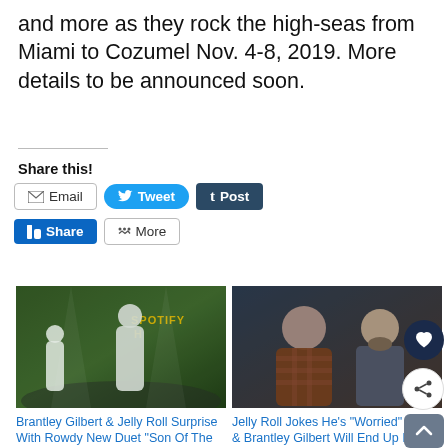and more as they rock the high-seas from Miami to Cozumel Nov. 4-8, 2019. More details to be announced soon.
Share this!
[Figure (infographic): Social sharing buttons: Email, Tweet (Twitter), Post (Tumblr), Share (LinkedIn), More]
[Figure (photo): Concert photo with Spotify House sign, two performers on stage]
Brantley Gilbert & Jelly Roll Surprise With Rowdy New Duet "Son Of The Dirty South" [LISTEN]
June 24, 2022
In "Boot Kickin' Mayhem"
[Figure (photo): Two men posing together, one in a plaid shirt]
Jelly Roll Jokes He's "Worried" Him & Brantley Gilbert Will End Up In Jail While Touring Together
July 1, 2022
In "Boot Kickin' Mayhem"